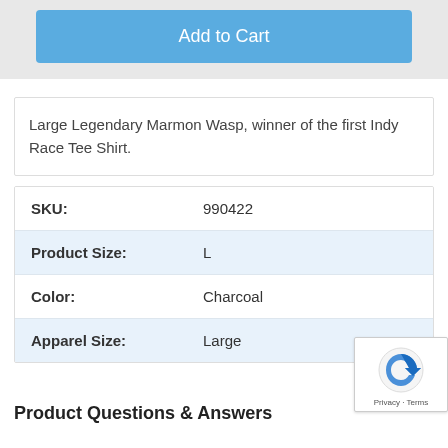[Figure (other): Add to Cart button in blue on a light grey background]
Large Legendary Marmon Wasp, winner of the first Indy Race Tee Shirt.
| SKU: | 990422 |
| Product Size: | L |
| Color: | Charcoal |
| Apparel Size: | Large |
Product Questions & Answers